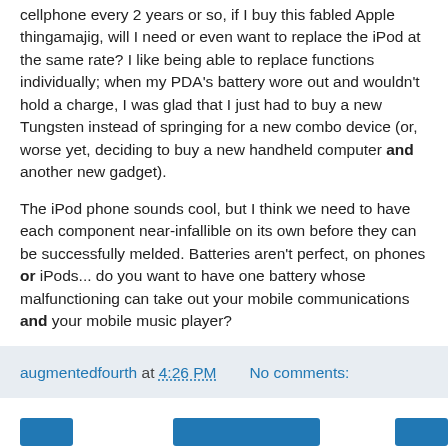cellphone every 2 years or so, if I buy this fabled Apple thingamajig, will I need or even want to replace the iPod at the same rate? I like being able to replace functions individually; when my PDA's battery wore out and wouldn't hold a charge, I was glad that I just had to buy a new Tungsten instead of springing for a new combo device (or, worse yet, deciding to buy a new handheld computer and another new gadget).
The iPod phone sounds cool, but I think we need to have each component near-infallible on its own before they can be successfully melded. Batteries aren't perfect, on phones or iPods... do you want to have one battery whose malfunctioning can take out your mobile communications and your mobile music player?
I think not.
augmentedfourth at 4:26 PM   No comments: